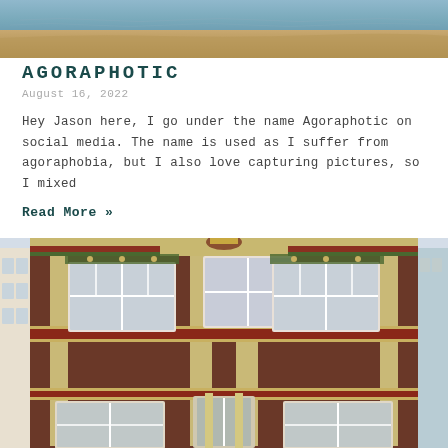[Figure (photo): Top portion of a photo showing water/sea and sandy/rocky terrain at the bottom edge]
AGORAPHOTIC
August 16, 2022
Hey Jason here, I go under the name Agoraphotic on social media. The name is used as I suffer from agoraphobia, but I also love capturing pictures, so I mixed
Read More »
[Figure (photo): Photograph of a ornate decorated building facade with colorful trim (gold, red, green), multiple windows with white geometric frames, and an elaborate architectural style suggesting a historic or decorative building front.]